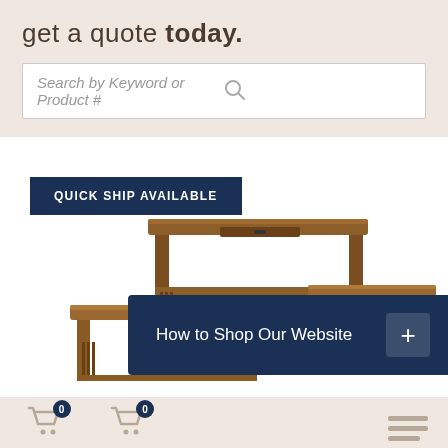get a quote today.
Search by Keyword or Product #
QUICK SHIP AVAILABLE
[Figure (photo): Wooden mission-style furniture set including a sofa table, coffee table, and end table in medium brown oak finish]
How to Shop Our Website
CUSTOM QUOTE
OUTDOOR FURNITURE
MENU